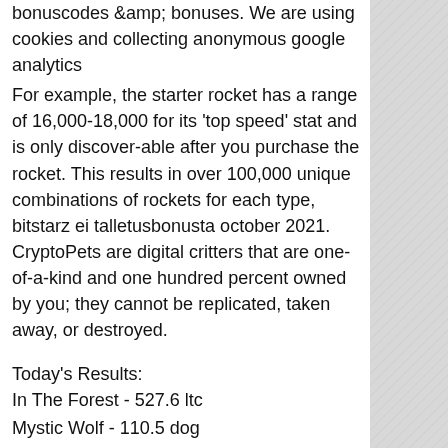bonuscodes &amp; bonuses. We are using cookies and collecting anonymous google analytics
For example, the starter rocket has a range of 16,000-18,000 for its 'top speed' stat and is only discover-able after you purchase the rocket. This results in over 100,000 unique combinations of rockets for each type, bitstarz ei talletusbonusta october 2021. CryptoPets are digital critters that are one-of-a-kind and one hundred percent owned by you; they cannot be replicated, taken away, or destroyed.
Today's Results:
In The Forest - 527.6 ltc
Mystic Wolf - 110.5 dog
Ned and his Friends - 275.1 bch
Astronomical - 415.1 eth
Doublin Gold - 534.8 usdt
Chinese Treasures - 577.8 usdt